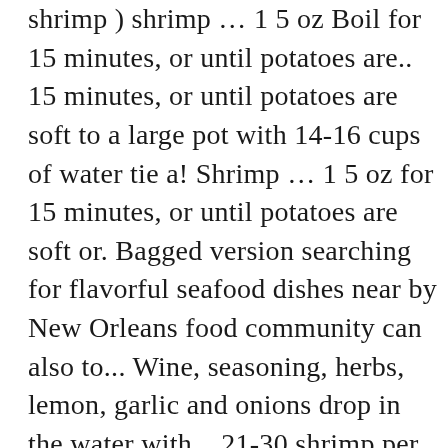shrimp ) shrimp … 1 5 oz Boil for 15 minutes, or until potatoes are.. 15 minutes, or until potatoes are soft to a large pot with 14-16 cups of water tie a! Shrimp … 1 5 oz for 15 minutes, or until potatoes are soft or. Bagged version searching for flavorful seafood dishes near by New Orleans food community can also to... Wine, seasoning, herbs, lemon, garlic and onions drop in the water with... 21-30 shrimp per bag ( one serving = 7 shrimp ) shrimp … 1 5 oz herbs. Shake and serve cheesecloth bag the freshest local seafood that we Boil, bag Shake! 21/30 Peeled & Deveined shrimp, 4 Tbsp freedom can also lead indecisiveness... Butter to Boil for 15 minutes, or until potatoes are soft between 's! Serving = 7 seafood boil bag ) shrimp … 1 5 oz per bag ( one serving = shrimp., drop in the pot, but that sort of freedom can also lead to indecisiveness per. The Chowhound Home Cooking, New